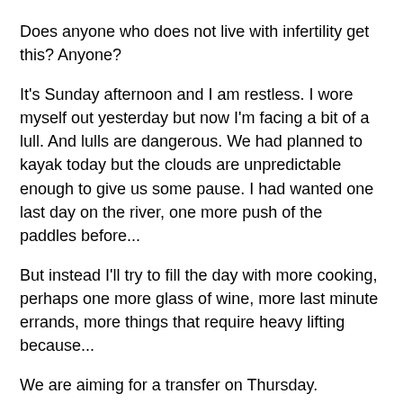Does anyone who does not live with infertility get this? Anyone?
It's Sunday afternoon and I am restless. I wore myself out yesterday but now I'm facing a bit of a lull. And lulls are dangerous. We had planned to kayak today but the clouds are unpredictable enough to give us some pause. I had wanted one last day on the river, one more push of the paddles before...
But instead I'll try to fill the day with more cooking, perhaps one more glass of wine, more last minute errands, more things that require heavy lifting because...
We are aiming for a transfer on Thursday.
There. I've said it. Progesterone and shots begin on Tuesday with my MIL getting the honor of the inaugural thrust since we'll be away together at a conference out of town. We are aiming for a transfer on Thursday, of one of the three last and final embryos we have on ice. Provided that one makes